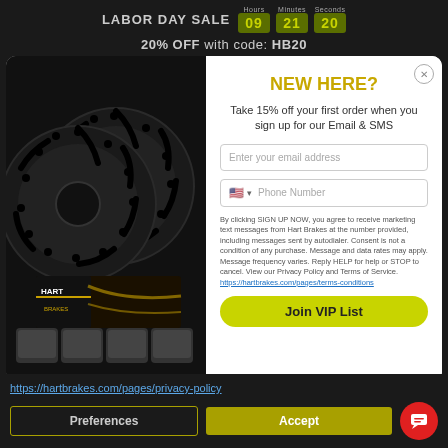LABOR DAY SALE 09 21 20 — 20% OFF with code: HB20
[Figure (photo): Two black drilled and slotted brake rotors with Hart Brakes brake pads product box and four brake pad sets displayed in front on dark background]
NEW HERE?
Take 15% off your first order when you sign up for our Email & SMS
Enter your email address
Phone Number
By clicking SIGN UP NOW, you agree to receive marketing text messages from Hart Brakes at the number provided, including messages sent by autodialer. Consent is not a condition of any purchase. Message and data rates may apply. Message frequency varies. Reply HELP for help or STOP to cancel. View our Privacy Policy and Terms of Service. https://hartbrakes.com/pages/terms-conditions
Join VIP List
https://hartbrakes.com/pages/privacy-policy
Preferences
Accept